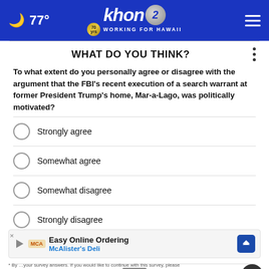🌙 77° | KHON2 Working for Hawaii
WHAT DO YOU THINK?
To what extent do you personally agree or disagree with the argument that the FBI's recent execution of a search warrant at former President Trump's home, Mar-a-Lago, was politically motivated?
Strongly agree
Somewhat agree
Somewhat disagree
Strongly disagree
Other / No opinion
Easy Online Ordering
McAlister's Deli
* By ...